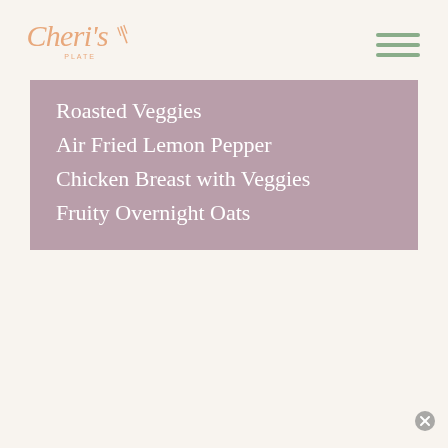Cheri's Plate
Roasted Veggies
Air Fried Lemon Pepper
Chicken Breast with Veggies
Fruity Overnight Oats